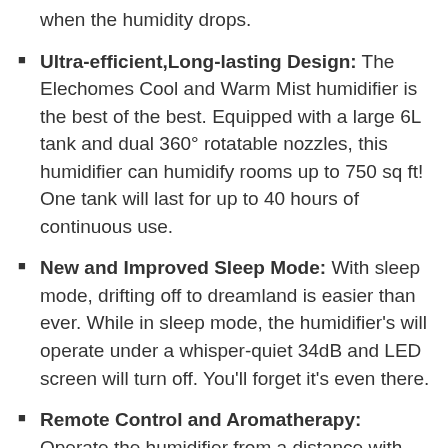when the humidity drops.
Ultra-efficient,Long-lasting Design: The Elechomes Cool and Warm Mist humidifier is the best of the best. Equipped with a large 6L tank and dual 360° rotatable nozzles, this humidifier can humidify rooms up to 750 sq ft! One tank will last for up to 40 hours of continuous use.
New and Improved Sleep Mode: With sleep mode, drifting off to dreamland is easier than ever. While in sleep mode, the humidifier's will operate under a whisper-quiet 34dB and LED screen will turn off. You'll forget it's even there.
Remote Control and Aromatherapy: Operate the humidifier from a distance with the convenient remote! You'll be able to set mist level, mist temperature, and more. The built-in aromatherapy box will take your relaxation to the next level— add a few